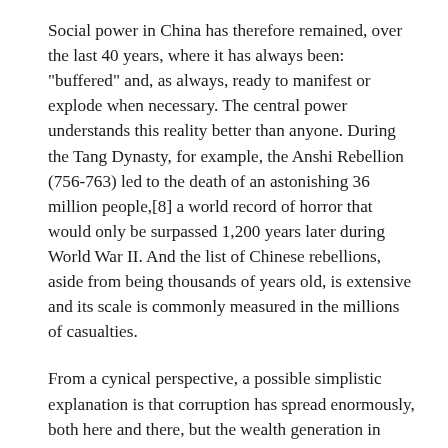Social power in China has therefore remained, over the last 40 years, where it has always been: "buffered" and, as always, ready to manifest or explode when necessary. The central power understands this reality better than anyone. During the Tang Dynasty, for example, the Anshi Rebellion (756-763) led to the death of an astonishing 36 million people,[8] a world record of horror that would only be surpassed 1,200 years later during World War II. And the list of Chinese rebellions, aside from being thousands of years old, is extensive and its scale is commonly measured in the millions of casualties.
From a cynical perspective, a possible simplistic explanation is that corruption has spread enormously, both here and there, but the wealth generation in China has been of such magnitude that it has been able to maintain the legitimacy of the Communist Party. From talking to